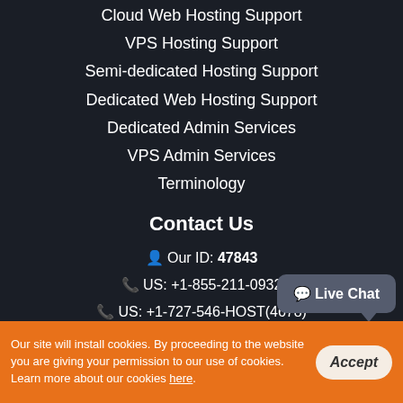Cloud Web Hosting Support
VPS Hosting Support
Semi-dedicated Hosting Support
Dedicated Web Hosting Support
Dedicated Admin Services
VPS Admin Services
Terminology
Contact Us
Our ID: 47843
US: +1-855-211-0932
US: +1-727-546-HOST(4678)
UK: +44-20-3695-1294
AU: +61-2-8417-2372
Live Chat
Our site will install cookies. By proceeding to the website you are giving your permission to our use of cookies. Learn more about our cookies here.